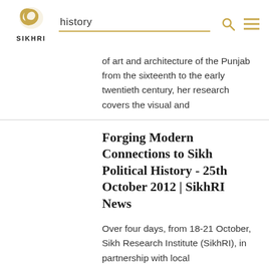SIKHRI | history
of art and architecture of the Punjab from the sixteenth to the early twentieth century, her research covers the visual and
Forging Modern Connections to Sikh Political History - 25th October 2012 | SikhRI News
Over four days, from 18-21 October, Sikh Research Institute (SikhRI), in partnership with local